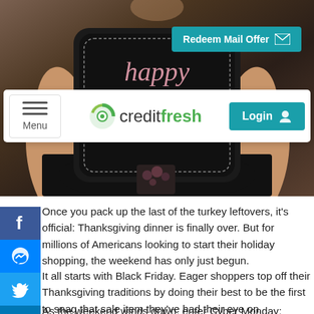[Figure (photo): Person holding a chalkboard sign with 'happy' written in cursive, wearing a black t-shirt with floral pocket detail. Hero image for a blog post about holiday shopping.]
[Figure (screenshot): Navigation bar showing hamburger Menu button on left, CreditFresh logo in center, and teal Login button on right. Teal 'Redeem Mail Offer' button with envelope icon in top-right corner.]
[Figure (infographic): Social media sharing sidebar with Facebook, Messenger, Twitter, LinkedIn, and Pinterest icons.]
Once you pack up the last of the turkey leftovers, it's official: Thanksgiving dinner is finally over. But for millions of Americans looking to start their holiday shopping, the weekend has only just begun.
It all starts with Black Friday. Eager shoppers top off their Thanksgiving traditions by doing their best to be the first to snag that sale item they've had their eye on.
As the weekend winds down, enter Cyber Monday: